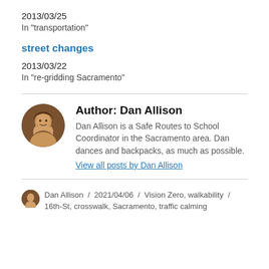2013/03/25
In "transportation"
street changes
2013/03/22
In "re-gridding Sacramento"
Author: Dan Allison
Dan Allison is a Safe Routes to School Coordinator in the Sacramento area. Dan dances and backpacks, as much as possible.
View all posts by Dan Allison
Dan Allison / 2021/04/06 / Vision Zero, walkability / 16th-St, crosswalk, Sacramento, traffic calming